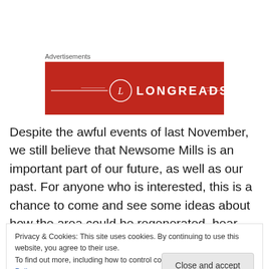Advertisements
[Figure (logo): Longreads logo on red background banner advertisement]
Despite the awful events of last November, we still believe that Newsome Mills is an important part of our future, as well as our past. For anyone who is interested, this is a chance to come and see some ideas about how the area could be regenerated, hear what's happening with the mill
Privacy & Cookies: This site uses cookies. By continuing to use this website, you agree to their use.
To find out more, including how to control cookies, see here: Cookie Policy